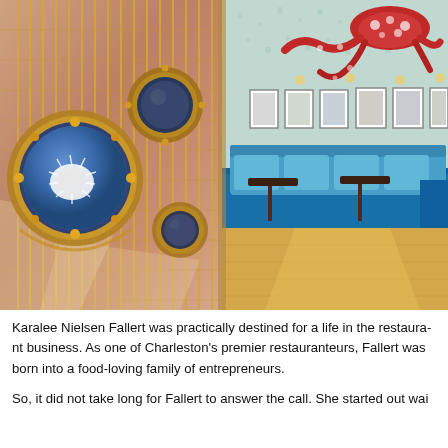[Figure (photo): Interior of a nautical-themed restaurant. Left side shows a salmon/pink wall with vertical brass/gold slats and round brass porthole windows containing decorative items. Right side shows blue upholstered booth seating, light wood floors, patterned wallpaper, framed artwork, and a large red octopus sculpture on the ceiling.]
Karalee Nielsen Fallert was practically destined for a life in the restaura­nt business. As one of Charleston's premier restauranteurs, Fallert was born into a food-loving family of entrepreneurs.
So, it did not take long for Fallert to answer the call. She started out wai­...